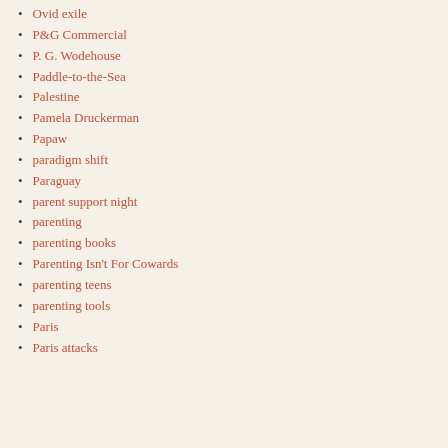Ovid exile
P&G Commercial
P. G. Wodehouse
Paddle-to-the-Sea
Palestine
Pamela Druckerman
Papaw
paradigm shift
Paraguay
parent support night
parenting
parenting books
Parenting Isn't For Cowards
parenting teens
parenting tools
Paris
Paris attacks